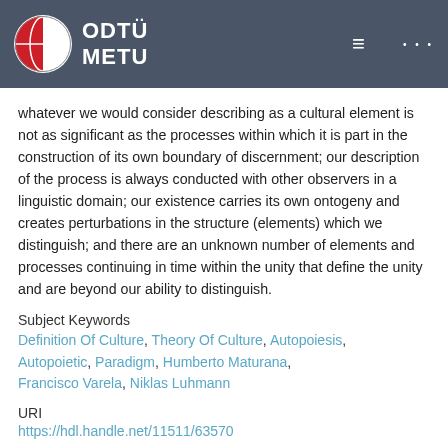ODTÜ METU
whatever we would consider describing as a cultural element is not as significant as the processes within which it is part in the construction of its own boundary of discernment; our description of the process is always conducted with other observers in a linguistic domain; our existence carries its own ontogeny and creates perturbations in the structure (elements) which we distinguish; and there are an unknown number of elements and processes continuing in time within the unity that define the unity and are beyond our ability to distinguish.
Subject Keywords
Definition Of Culture, Theory Of Culture, Autopoiesis, Autopoietic, Paradigm, Humberto Maturana, Francisco Varela, Niklas Luhmann
URI
https://hdl.handle.net/11511/63570
Journal
CULTURA-INTERNATIONAL JOURNAL OF PHILOSOPHY OF CULTURE AND AXIOLOGY